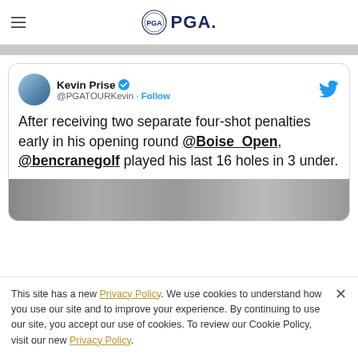PGA
[Figure (screenshot): Tweet by Kevin Prise (@PGATOURKevin) with verified badge and Follow button. Tweet text: After receiving two separate four-shot penalties early in his opening round @Boise_Open, @bencranegolf played his last 16 holes in 3 under. Partial image strip at bottom of tweet card.]
This site has a new Privacy Policy. We use cookies to understand how you use our site and to improve your experience. By continuing to use our site, you accept our use of cookies. To review our Cookie Policy, visit our new Privacy Policy.